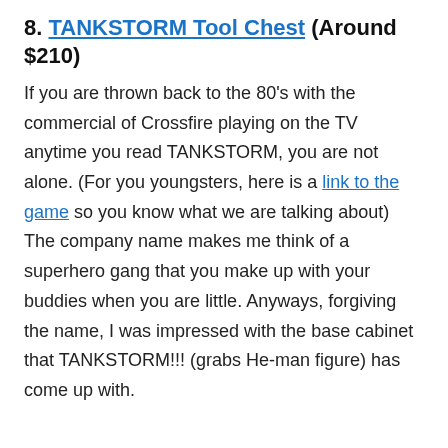8. TANKSTORM Tool Chest (Around $210)
If you are thrown back to the 80's with the commercial of Crossfire playing on the TV anytime you read TANKSTORM, you are not alone. (For you youngsters, here is a link to the game so you know what we are talking about) The company name makes me think of a superhero gang that you make up with your buddies when you are little. Anyways, forgiving the name, I was impressed with the base cabinet that TANKSTORM!!! (grabs He-man figure) has come up with.